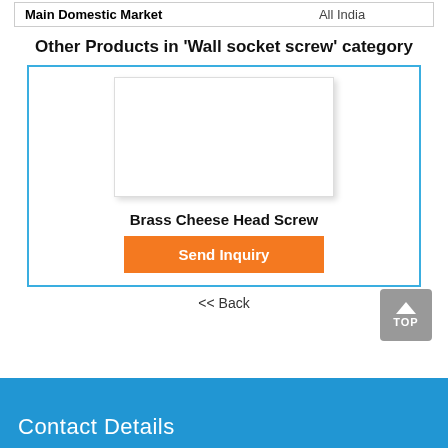| Main Domestic Market | All India |
| --- | --- |
Other Products in 'Wall socket screw' category
[Figure (photo): Product card with blank image placeholder for Brass Cheese Head Screw, with a Send Inquiry button]
Brass Cheese Head Screw
Send Inquiry
<< Back
Contact Details